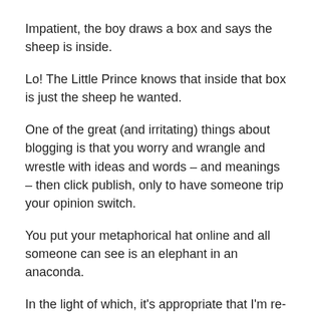Impatient, the boy draws a box and says the sheep is inside.
Lo! The Little Prince knows that inside that box is just the sheep he wanted.
One of the great (and irritating) things about blogging is that you worry and wrangle and wrestle with ideas and words – and meanings – then click publish, only to have someone trip your opinion switch.
You put your metaphorical hat online and all someone can see is an elephant in an anaconda.
In the light of which, it's appropriate that I'm re-reading Le Petit Prince for a tangential reason.
I... position... about... late 1970s... At that ti...